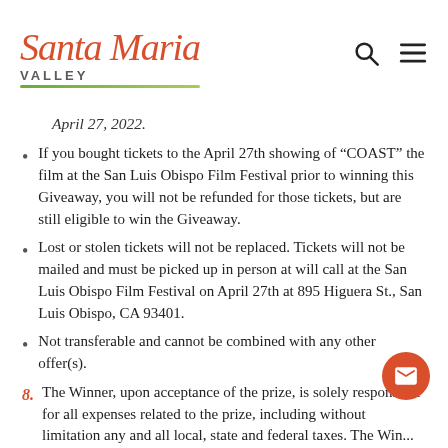[Figure (logo): Santa Maria Valley logo with orange cursive script and green underline, search and hamburger menu icons top right]
April 27, 2022.
If you bought tickets to the April 27th showing of “COAST” the film at the San Luis Obispo Film Festival prior to winning this Giveaway, you will not be refunded for those tickets, but are still eligible to win the Giveaway.
Lost or stolen tickets will not be replaced. Tickets will not be mailed and must be picked up in person at will call at the San Luis Obispo Film Festival on April 27th at 895 Higuera St., San Luis Obispo, CA 93401.
Not transferable and cannot be combined with any other offer(s).
8. The Winner, upon acceptance of the prize, is solely responsible for all expenses related to the prize, including without limitation any and all local, state and federal taxes. The Win...